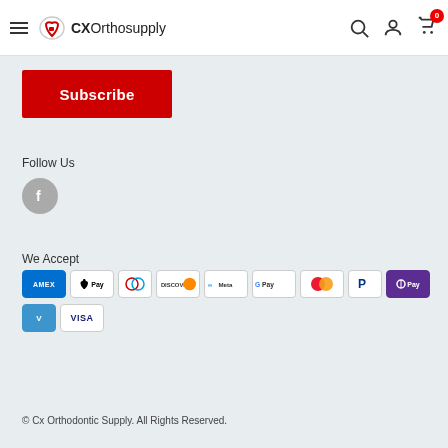CXOrthosupply
Subscribe
Follow Us
[Figure (logo): Facebook circle icon in grey]
We Accept
[Figure (infographic): Payment method logos: AMEX, Apple Pay, Diners Club, Discover, Meta, Google Pay, Mastercard, PayPal, OPay, Venmo, VISA]
© Cx Orthodontic Supply. All Rights Reserved.